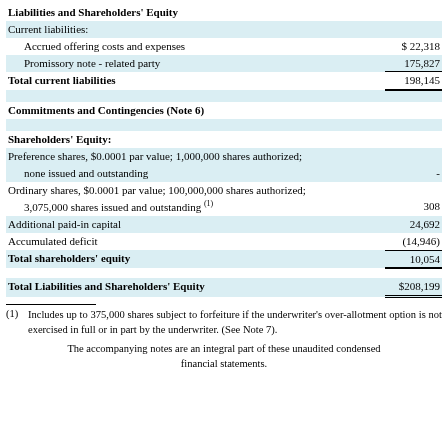|  |  |
| --- | --- |
| Liabilities and Shareholders' Equity |  |
| Current liabilities: |  |
| Accrued offering costs and expenses | $ 22,318 |
| Promissory note - related party | 175,827 |
| Total current liabilities | 198,145 |
|  |  |
| Commitments and Contingencies (Note 6) |  |
|  |  |
| Shareholders' Equity: |  |
| Preference shares, $0.0001 par value; 1,000,000 shares authorized; none issued and outstanding | - |
| Ordinary shares, $0.0001 par value; 100,000,000 shares authorized; 3,075,000 shares issued and outstanding (1) | 308 |
| Additional paid-in capital | 24,692 |
| Accumulated deficit | (14,946) |
| Total shareholders' equity | 10,054 |
|  |  |
| Total Liabilities and Shareholders' Equity | $208,199 |
(1) Includes up to 375,000 shares subject to forfeiture if the underwriter's over-allotment option is not exercised in full or in part by the underwriter. (See Note 7).
The accompanying notes are an integral part of these unaudited condensed financial statements.